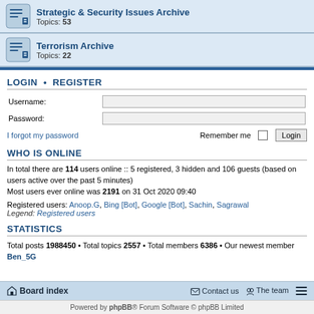Strategic & Security Issues Archive — Topics: 53
Terrorism Archive — Topics: 22
LOGIN • REGISTER
Username:
Password:
I forgot my password    Remember me  Login
WHO IS ONLINE
In total there are 114 users online :: 5 registered, 3 hidden and 106 guests (based on users active over the past 5 minutes)
Most users ever online was 2191 on 31 Oct 2020 09:40
Registered users: Anoop.G, Bing [Bot], Google [Bot], Sachin, Sagrawal
Legend: Registered users
STATISTICS
Total posts 1988450 • Total topics 2557 • Total members 6386 • Our newest member Ben_5G
Board index   Contact us   The team
Powered by phpBB® Forum Software © phpBB Limited